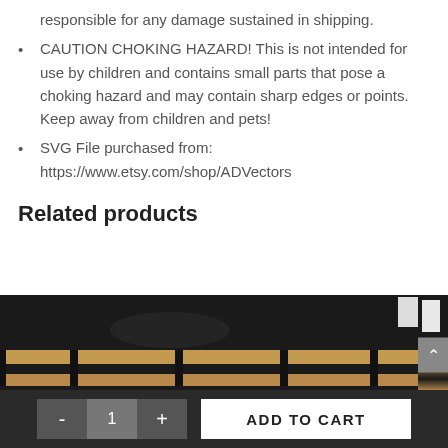responsible for any damage sustained in shipping.
CAUTION CHOKING HAZARD! This is not intended for use by children and contains small parts that pose a choking hazard and may contain sharp edges or points. Keep away from children and pets!
SVG File purchased from: https://www.etsy.com/shop/ADVectors
Related products
[Figure (photo): Product photo showing a wooden laser-cut item on a dark background with wooden slats, partially cropped]
ADD TO CART